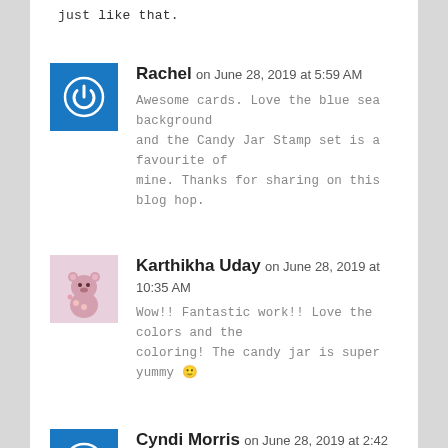just like that.
Rachel on June 28, 2019 at 5:59 AM
Awesome cards. Love the blue sea background and the Candy Jar Stamp set is a favourite of mine. Thanks for sharing on this blog hop.
Karthikha Uday on June 28, 2019 at 10:35 AM
Wow!! Fantastic work!! Love the colors and the coloring! The candy jar is super yummy 🙂
Cyndi Morris on June 28, 2019 at 2:42 PM
I love your fun, colorful cards. The Turtley Awesome set is adorable and definitely one of